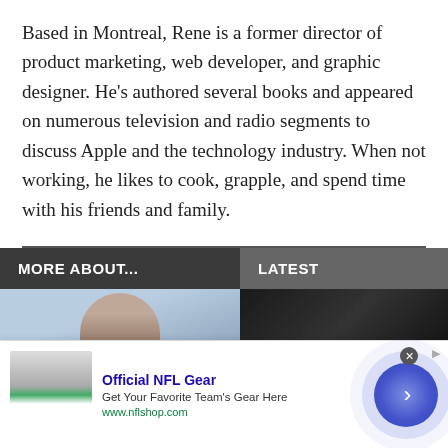Based in Montreal, Rene is a former director of product marketing, web developer, and graphic designer. He's authored several books and appeared on numerous television and radio segments to discuss Apple and the technology industry. When not working, he likes to cook, grapple, and spend time with his friends and family.
MORE ABOUT...
LATEST
[Figure (photo): Thumbnail image of a person with earbuds]
[Figure (photo): Thumbnail image of a dark object on black background]
[Figure (photo): Advertisement image showing NFL jerseys]
Official NFL Gear
Get Your Favorite Team's Gear Here
www.nflshop.com